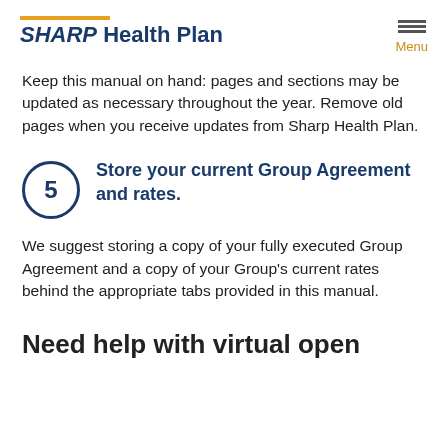SHARP Health Plan | Menu
Keep this manual on hand: pages and sections may be updated as necessary throughout the year. Remove old pages when you receive updates from Sharp Health Plan.
5  Store your current Group Agreement and rates.
We suggest storing a copy of your fully executed Group Agreement and a copy of your Group's current rates behind the appropriate tabs provided in this manual.
Need help with virtual open